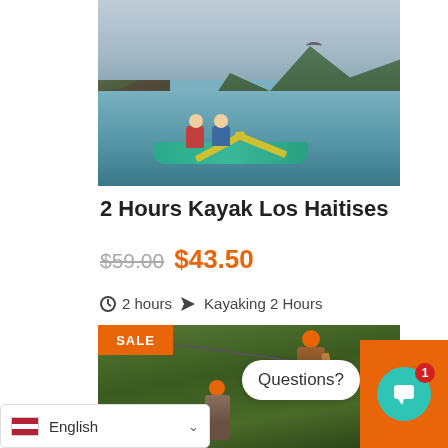[Figure (photo): People kayaking on a calm lake surrounded by rocky cliffs and mountains in Los Haitises]
2 Hours Kayak Los Haitises
$59.00  $43.50
2 hours  Kayaking 2 Hours
[Figure (photo): Two people on a zip line wearing orange helmets in a forested area, with SALE badge in top-left corner]
Questions?
English